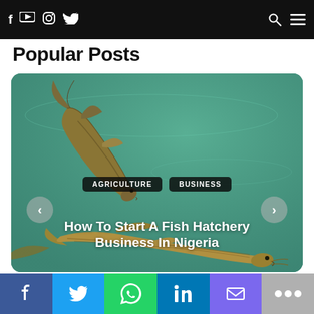f [youtube] [instagram] [twitter]  [search] [menu]
Popular Posts
[Figure (photo): Two catfish swimming in greenish water, viewed from above. Overlay tags read AGRICULTURE and BUSINESS. Title text reads: How To Start A Fish Hatchery Business In Nigeria. Left and right navigation arrows visible on sides.]
Facebook | Twitter | WhatsApp | LinkedIn | Email | More